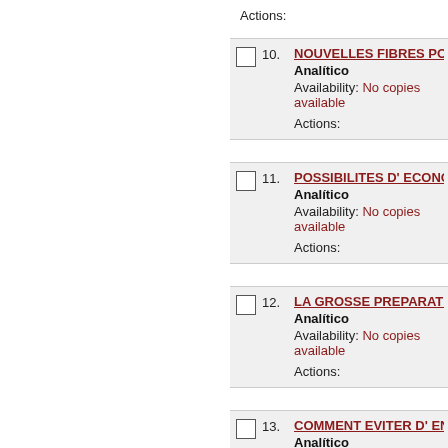Actions:
10. NOUVELLES FIBRES POUR... | Analítico | Availability: No copies available | Actions:
11. POSSIBILITES D' ECONOM... | Analítico | Availability: No copies available | Actions:
12. LA GROSSE PREPARATION... | Analítico | Availability: No copies available | Actions:
13. COMMENT EVITER D' ENDO... | Analítico | Availability: No copies available | Actions:
14. ESTABILIDADE DIMENSION... | Monografia